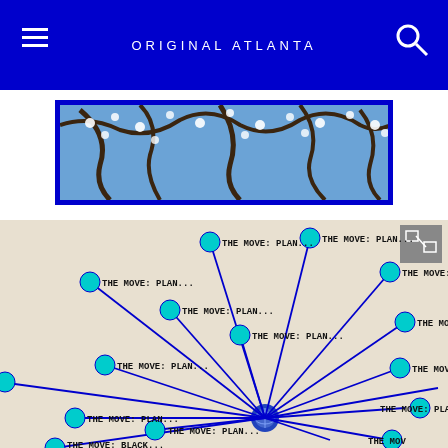ORIGINAL ATLANTA
[Figure (photo): Photo of tree branches with white blossoms against blue sky, displayed as a banner image with blue border]
[Figure (network-graph): Network graph showing a central node (globe icon) connected to multiple cyan/teal circular nodes, each labeled 'THE MOVE: PLAN...' or 'THE MOVE: BLACK...' or 'THE MOVE:'. Lines radiate from center to peripheral nodes in a spoke pattern on a beige background.]